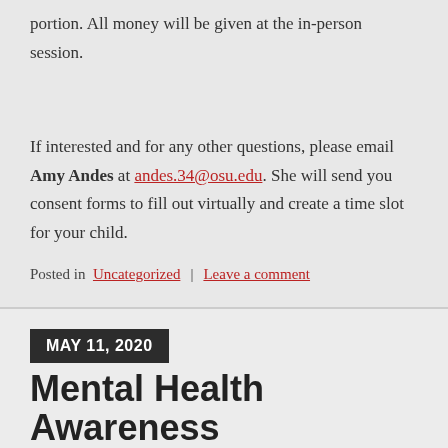portion. All money will be given at the in-person session.
If interested and for any other questions, please email Amy Andes at andes.34@osu.edu. She will send you consent forms to fill out virtually and create a time slot for your child.
Posted in Uncategorized | Leave a comment
MAY 11, 2020
Mental Health Awareness